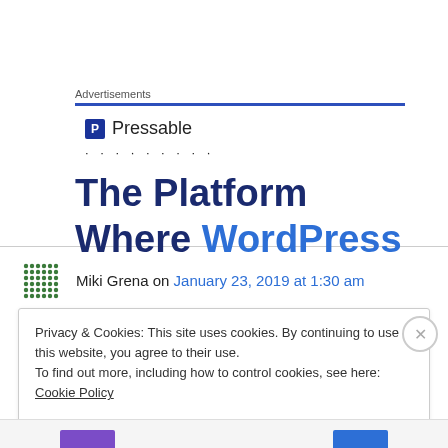Advertisements
[Figure (logo): Pressable logo — blue 'P' icon followed by Pressable wordmark, with dotted line below]
The Platform Where WordPress
Miki Grena on January 23, 2019 at 1:30 am
Privacy & Cookies: This site uses cookies. By continuing to use this website, you agree to their use.
To find out more, including how to control cookies, see here: Cookie Policy